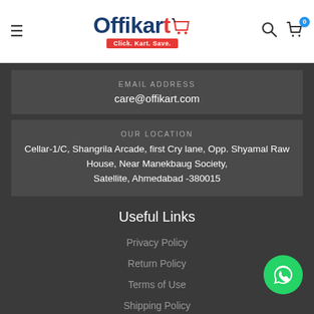Offikart - Click. Kart. Save.
EMAIL ADDRESS
care@offikart.com
OUR LOCATION
Cellar-1/C, Shangrila Arcade, first Cry lane, Opp. Shyamal Raw House, Near Manekbaug Society, Satellite, Ahmedabad -380015
Useful Links
Privacy Policy
Return Policy
Terms of Use
Shipping Policy